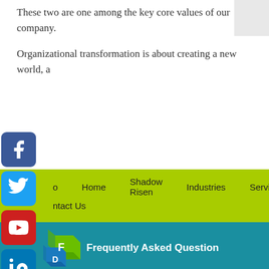These two are one among the key core values of our company.
Organizational transformation is about creating a new world, a
[Figure (infographic): Navigation bar with social media icons (Facebook, Twitter, YouTube, LinkedIn, RSS, Google+) on the left side, a green navigation bar with links: Home, Shadow Risen, Industries, Services, Contact Us, and a teal footer bar with FAQ icon and 'Frequently Asked Question' text.]